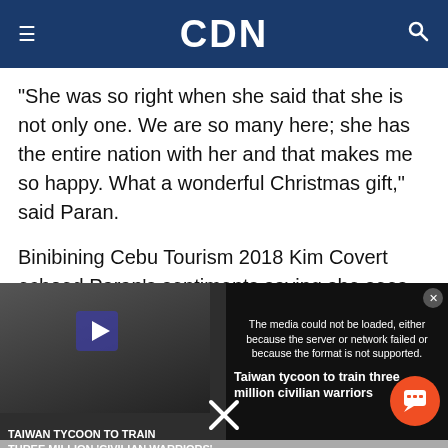CDN
“She was so right when she said that she is not only one. We are so many here; she has the entire nation with her and that makes me so happy. What a wonderful Christmas gift,” said Paran.
Binibining Cebu Tourism 2018 Kim Covert echoed Paran’s sentiments saying she sees Gray as a total package.
[Figure (screenshot): Video player overlay showing a media error message 'The media could not be loaded, either because the server or network failed or because the format is not supported.' with a thumbnail of a news story titled 'Taiwan tycoon to train three million civilian warriors', an orange chat button, and a close X button.]